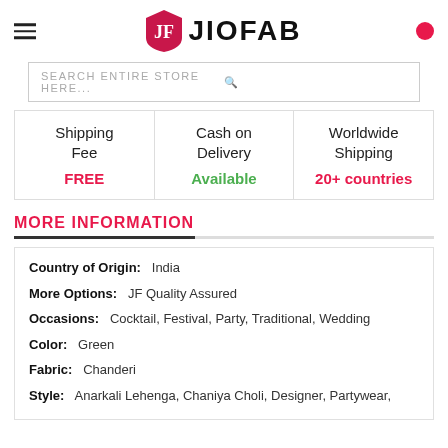[Figure (logo): JioFab logo with shield emblem and JIOFAB text]
SEARCH ENTIRE STORE HERE...
Shipping Fee FREE | Cash on Delivery Available | Worldwide Shipping 20+ countries
MORE INFORMATION
| Country of Origin: | India |
| More Options: | JF Quality Assured |
| Occasions: | Cocktail, Festival, Party, Traditional, Wedding |
| Color: | Green |
| Fabric: | Chanderi |
| Style: | Anarkali Lehenga, Chaniya Choli, Designer, Partywear, |